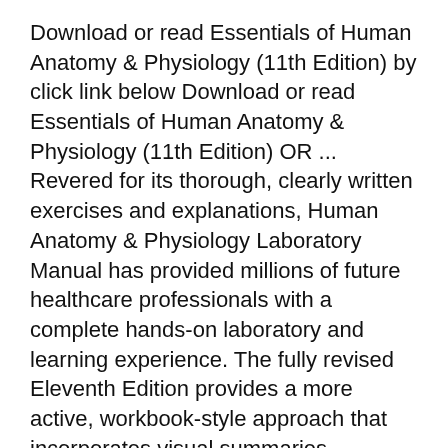Download or read Essentials of Human Anatomy & Physiology (11th Edition) by click link below Download or read Essentials of Human Anatomy & Physiology (11th Edition) OR ... Revered for its thorough, clearly written exercises and explanations, Human Anatomy & Physiology Laboratory Manual has provided millions of future healthcare professionals with a complete hands-on laboratory and learning experience. The fully revised Eleventh Edition provides a more active, workbook-style approach that incorporates visual summaries, streamlines information, and engages
Revered for its thorough, clearly written